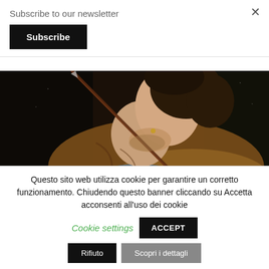Subscribe to our newsletter
Subscribe
×
[Figure (photo): Close-up painting of a young figure with curly dark hair, holding a staff/arrow, wearing a brown draped garment over a blue tunic, dark background — classical Baroque-style portrait.]
Questo sito web utilizza cookie per garantire un corretto funzionamento. Chiudendo questo banner cliccando su Accetta acconsenti all'uso dei cookie
Cookie settings
ACCEPT
Rifiuto
Scopri i dettagli